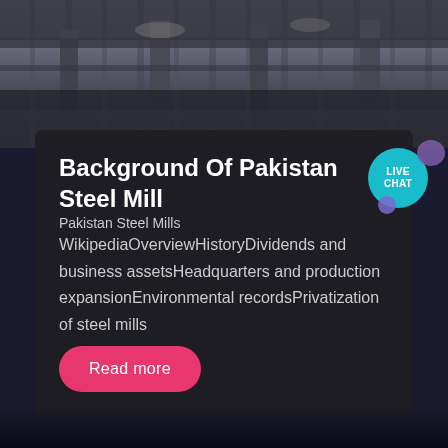[Figure (photo): Industrial steel mill interior with structural columns and overhead equipment, dark industrial atmosphere]
Background Of Pakistan Steel Mill
Pakistan Steel Mills
WikipediaOverviewHistoryDividends and business assetsHeadquarters and production expansionEnvironmental recordsPrivatization of steel mills
Read more